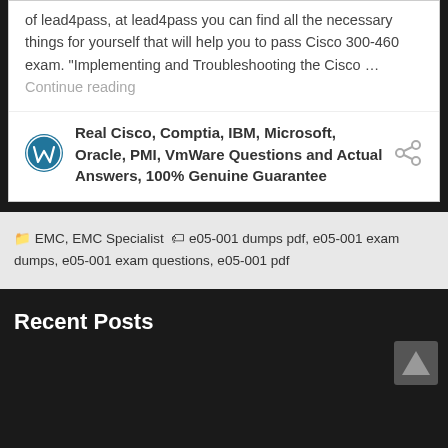of lead4pass, at lead4pass you can find all the necessary things for yourself that will help you to pass Cisco 300-460 exam. "Implementing and Troubleshooting the Cisco … Continue reading
[Figure (logo): WordPress logo circle icon in blue and white]
Real Cisco, Comptia, IBM, Microsoft, Oracle, PMI, VmWare Questions and Actual Answers, 100% Genuine Guarantee
[Figure (other): Share icon (three dots connected)]
EMC, EMC Specialist  e05-001 dumps pdf, e05-001 exam dumps, e05-001 exam questions, e05-001 pdf
Recent Posts